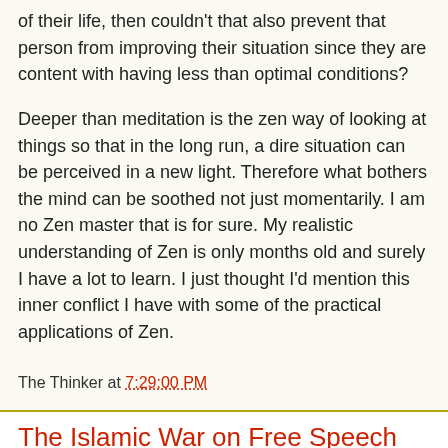of their life, then couldn't that also prevent that person from improving their situation since they are content with having less than optimal conditions?
Deeper than meditation is the zen way of looking at things so that in the long run, a dire situation can be perceived in a new light. Therefore what bothers the mind can be soothed not just momentarily. I am no Zen master that is for sure. My realistic understanding of Zen is only months old and surely I have a lot to learn. I just thought I'd mention this inner conflict I have with some of the practical applications of Zen.
The Thinker at 7:29:00 PM
The Islamic War on Free Speech
[Figure (photo): Group of people gathered closely together, some wearing white, appearing to be in a protest or crowd scene outdoors]